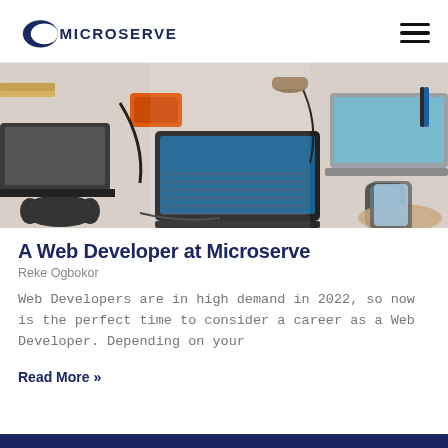MICROSERVE
[Figure (photo): Overhead/flat-lay photo of a tech workspace with two laptops, a keyboard, headphones, a phone, an orange portable hard drive, cables, and other accessories on a light surface.]
A Web Developer at Microserve
Reke Ogbokor
Web Developers are in high demand in 2022, so now is the perfect time to consider a career as a Web Developer. Depending on your
Read More »